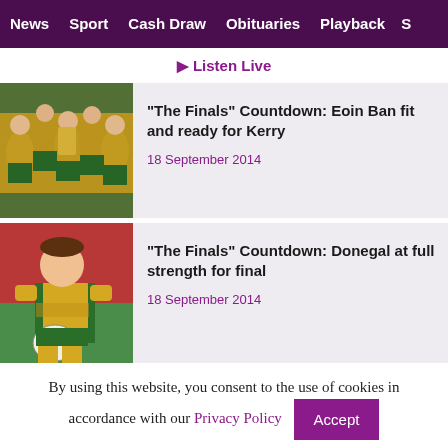News   Sport   Cash Draw   Obituaries   Playback   S
▶ Listen Live
[Figure (photo): Group of GAA players in yellow and green jerseys celebrating with a trophy]
"The Finals" Countdown: Eoin Ban fit and ready for Kerry
18 September 2014
[Figure (photo): GAA player in yellow and green Donegal jersey holding a football]
"The Finals" Countdown: Donegal at full strength for final
18 September 2014
By using this website, you consent to the use of cookies in accordance with our Privacy Policy   Accept